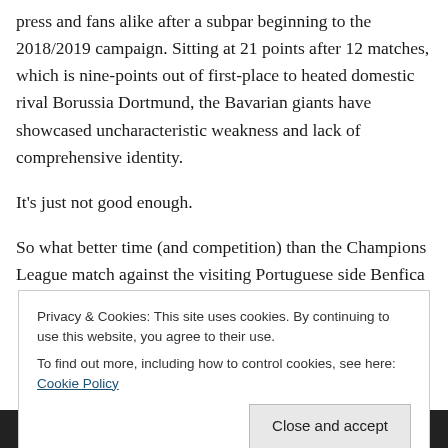press and fans alike after a subpar beginning to the 2018/2019 campaign. Sitting at 21 points after 12 matches, which is nine-points out of first-place to heated domestic rival Borussia Dortmund, the Bavarian giants have showcased uncharacteristic weakness and lack of comprehensive identity.
It's just not good enough.
So what better time (and competition) than the Champions League match against the visiting Portuguese side Benfica
Privacy & Cookies: This site uses cookies. By continuing to use this website, you agree to their use.
To find out more, including how to control cookies, see here: Cookie Policy
Close and accept
This site is private